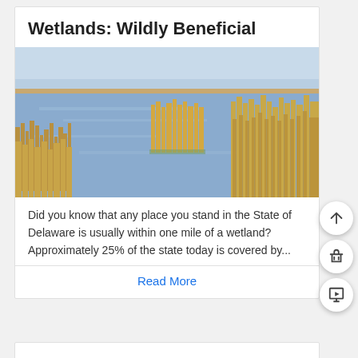Wetlands: Wildly Beneficial
[Figure (photo): Photograph of a wetland marsh with golden-brown grasses and blue water channels under a pale blue sky, typical of Delaware coastal wetlands.]
Did you know that any place you stand in the State of Delaware is usually within one mile of a wetland? Approximately 25% of the state today is covered by...
Read More